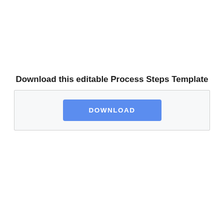Download this editable Process Steps Template
[Figure (other): A download button labeled 'DOWNLOAD' in blue, inside a light gray bordered box]